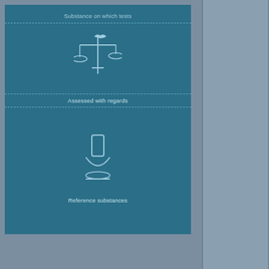[Figure (illustration): Teal/dark-blue card with two icons (bird on balance scale and a stand/flask) and two text labels separated by dashed lines]
Reference Type
Title
Report Date
Materials an
Test guideline
Qualifier
Guideline
GLP compliance
Test material
Test material